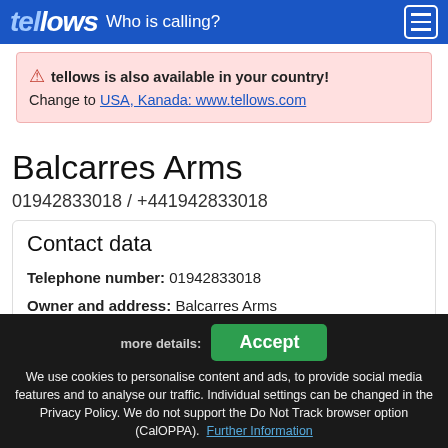tellows - Who is calling?
⚠ tellows is also available in your country! Change to USA, Kanada: www.tellows.com
Balcarres Arms
01942833018 / +441942833018
Contact data
Telephone number: 01942833018
Owner and address: Balcarres Arms 1 Copperas Lane WN2 1PA Wigan
City: Wigan - United Kingdom
more details: [Accept button] We use cookies to personalise content and ads, to provide social media features and to analyse our traffic. Individual settings can be changed in the Privacy Policy. We do not support the Do Not Track browser option (CalOPPA). Further Information